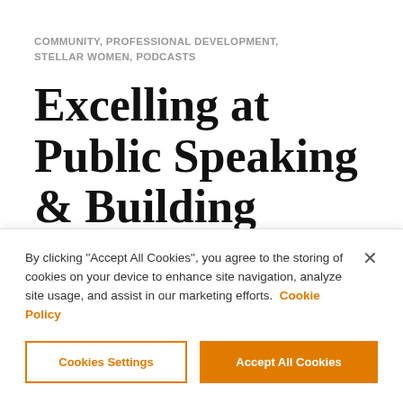COMMUNITY, PROFESSIONAL DEVELOPMENT, STELLAR WOMEN, PODCASTS
Excelling at Public Speaking & Building Diversity with Stellar Women's Shannon Brayton
By clicking "Accept All Cookies", you agree to the storing of cookies on your device to enhance site navigation, analyze site usage, and assist in our marketing efforts. Cookie Policy
Cookies Settings | Accept All Cookies